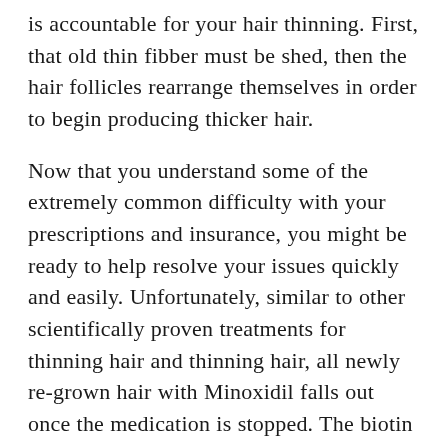is accountable for your hair thinning. First, that old thin fibber must be shed, then the hair follicles rearrange themselves in order to begin producing thicker hair.
Now that you understand some of the extremely common difficulty with your prescriptions and insurance, you might be ready to help resolve your issues quickly and easily. Unfortunately, similar to other scientifically proven treatments for thinning hair and thinning hair, all newly re-grown hair with Minoxidil falls out once the medication is stopped. The biotin and hair thinning connection has become distinguished well enough to get used as being a natural remedy. There is a certain amount of hair loss in all men, but as they get older, the batural growth cycle of their hair is not able to keep up and compensate for the baldness. However, this medication must never be taken by women who're of childbearing age or who're planning to